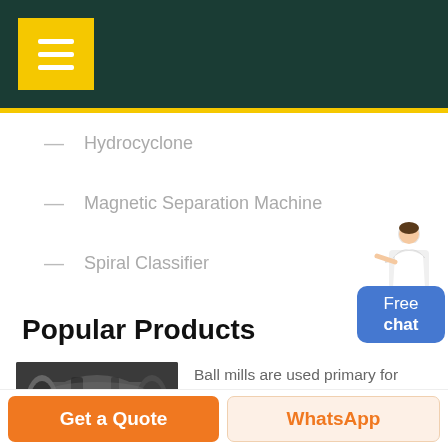[Figure (screenshot): Dark teal header bar with yellow menu/hamburger button in top-left corner]
— Hydrocyclone
— Magnetic Separation Machine
— Spiral Classifier
[Figure (illustration): Free chat widget showing a customer service person figure above a blue rounded rectangle button labeled 'Free chat']
Popular Products
[Figure (photo): Photo of a ball mill industrial grinding machine in dark gray color]
Ball mills are used primary for single stage fine grinding, regrinding,...
Ball Mill
Get a Quote
WhatsApp